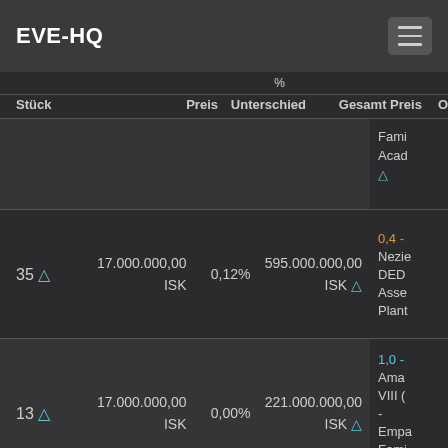EVE-HQ
| Stück | Preis | % Unterschied | Gesamt Preis | O |
| --- | --- | --- | --- | --- |
|  |  |  |  | Fami... Acad... △ |
| 35 △ | 17.000.000,00 ISK | 0,12% | 595.000.000,00 ISK △ | 0,4 - Nezie... DED... Asse... Plant... |
| 13 △ | 17.000.000,00 ISK | 0,00% | 221.000.000,00 ISK △ | 1,0 - Ama... VIII (...) - Empa... Fami... Acad... |